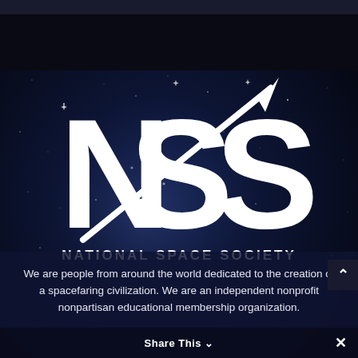[Figure (logo): NSS National Space Society logo — white bold letters 'NSS' with a rocket/slash line through them and the text 'NATIONAL SPACE SOCIETY' below, on a dark starry space background]
We are people from around the world dedicated to the creation of a spacefaring civilization. We are an independent nonprofit nonpartisan educational membership organization.
Share This ∨  ✕